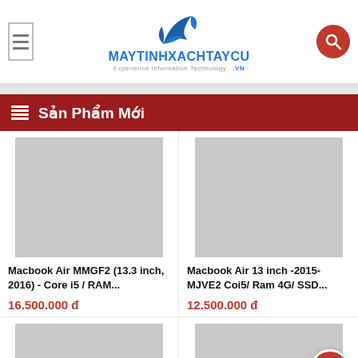[Figure (logo): Maytinhxachtaycu.vn logo with bird/laptop icon and text]
Sản Phẩm Mới
[Figure (photo): Placeholder image for Macbook Air MMGF2 product]
Macbook Air MMGF2 (13.3 inch, 2016) - Core i5 / RAM...
16.500.000  đ
[Figure (photo): Placeholder image for Macbook Air 13 inch 2015 product]
Macbook Air 13 inch -2015- MJVE2 Coi5/ Ram 4G/ SSD...
12.500.000  đ
[Figure (photo): Placeholder image for third product]
[Figure (photo): Placeholder image for fourth product]